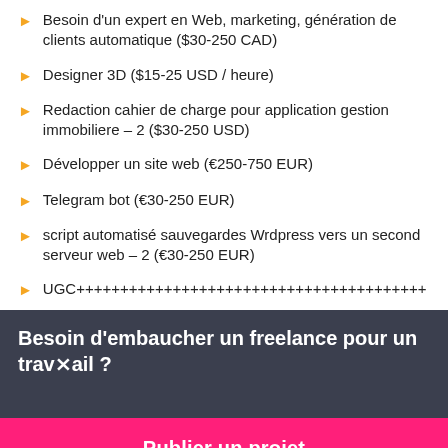Besoin d'un expert en Web, marketing, génération de clients automatique ($30-250 CAD)
Designer 3D ($15-25 USD / heure)
Redaction cahier de charge pour application gestion immobiliere – 2 ($30-250 USD)
Développer un site web (€250-750 EUR)
Telegram bot (€30-250 EUR)
script automatisé sauvegardes Wrdpress vers un second serveur web – 2 (€30-250 EUR)
UGC... (partially visible)
Besoin d'embaucher un freelance pour un travail ?
Publier un projet